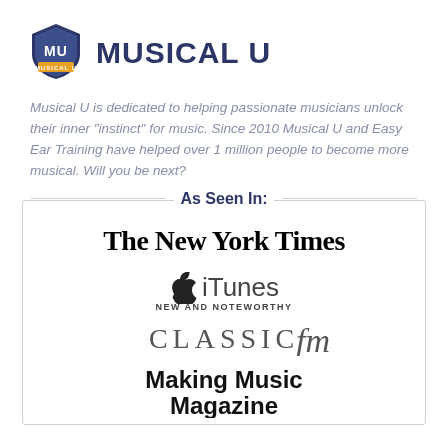[Figure (logo): Musical U shield logo with MU letters and 'MUSICAL U' text badge]
MUSICAL U
Musical U is dedicated to helping passionate musicians unlock their inner "instinct" for music. Since 2010 Musical U and Easy Ear Training have helped over 1 million people to become more musical. Will you be next?
As Seen In:
[Figure (logo): The New York Times logo in Old English blackletter font]
[Figure (logo): Apple iTunes logo with apple icon and 'NEW AND NOTEWORTHY' subtitle]
[Figure (logo): Classic FM logo in serif uppercase letters with italic fm]
[Figure (logo): Making Music Magazine logo in bold sans-serif]